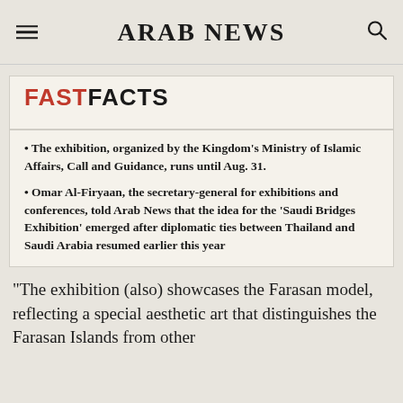ARAB NEWS
FASTFACTS
The exhibition, organized by the Kingdom's Ministry of Islamic Affairs, Call and Guidance, runs until Aug. 31.
Omar Al-Firyaan, the secretary-general for exhibitions and conferences, told Arab News that the idea for the 'Saudi Bridges Exhibition' emerged after diplomatic ties between Thailand and Saudi Arabia resumed earlier this year
“The exhibition (also) showcases the Farasan model, reflecting a special aesthetic art that distinguishes the Farasan Islands from other